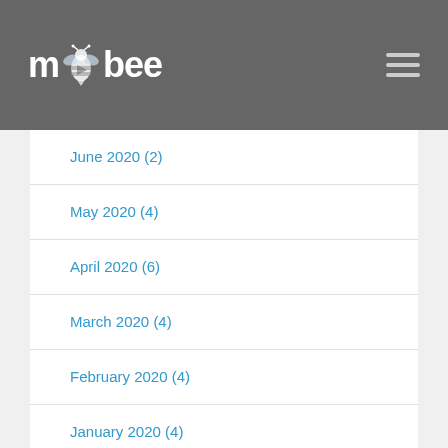mobee
June 2020 (2)
May 2020 (4)
April 2020 (6)
March 2020 (4)
February 2020 (4)
January 2020 (4)